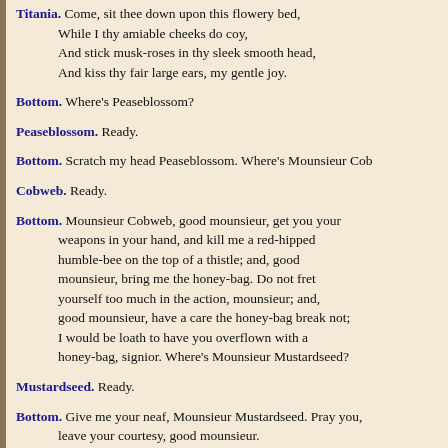Titania. Come, sit thee down upon this flowery bed, While I thy amiable cheeks do coy, And stick musk-roses in thy sleek smooth head, And kiss thy fair large ears, my gentle joy.
Bottom. Where's Peaseblossom?
Peaseblossom. Ready.
Bottom. Scratch my head Peaseblossom. Where's Mounsieur Cob
Cobweb. Ready.
Bottom. Mounsieur Cobweb, good mounsieur, get you your weapons in your hand, and kill me a red-hipped humble-bee on the top of a thistle; and, good mounsieur, bring me the honey-bag. Do not fret yourself too much in the action, mounsieur; and, good mounsieur, have a care the honey-bag break not; I would be loath to have you overflown with a honey-bag, signior. Where's Mounsieur Mustardseed?
Mustardseed. Ready.
Bottom. Give me your neaf, Mounsieur Mustardseed. Pray you, leave your courtesy, good mounsieur.
Mustardseed. What's your Will?